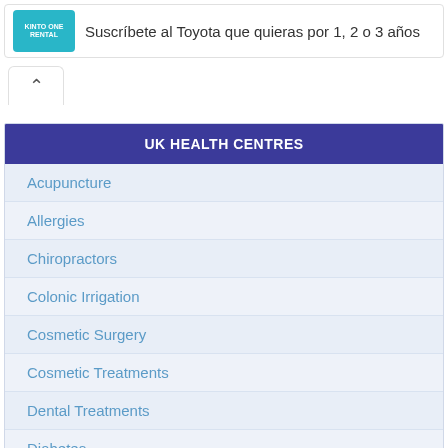[Figure (other): Advertisement banner for KINTO ONE RENTAL with logo and text: Suscríbete al Toyota que quieras por 1, 2 o 3 años]
Suscríbete al Toyota que quieras por 1, 2 o 3 años
UK HEALTH CENTRES
Acupuncture
Allergies
Chiropractors
Colonic Irrigation
Cosmetic Surgery
Cosmetic Treatments
Dental Treatments
Diabetes
Dieting
Fertility Treatment